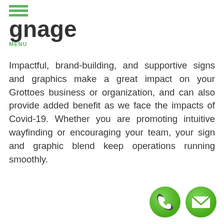gnage — MENU
Impactful, brand-building, and supportive signs and graphics make a great impact on your Grottoes business or organization, and can also provide added benefit as we face the impacts of Covid-19. Whether you are promoting intuitive wayfinding or encouraging your team, your sign and graphic blend keep operations running smoothly.
[Figure (illustration): Two green circular icon buttons: a phone/call icon and a mail/envelope icon, positioned in the bottom-right corner.]